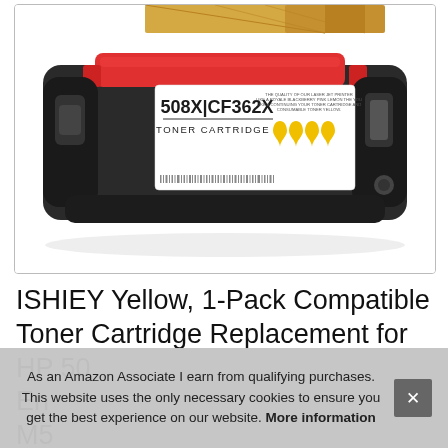[Figure (photo): Yellow HP 508X CF362X toner cartridge with red top cap, showing label with model numbers and four yellow ink drop icons, displayed against white background inside a rounded-corner border box. Cardboard box visible at top.]
ISHIEY Yellow, 1-Pack Compatible Toner Cartridge Replacement for HP 50 En M5
As an Amazon Associate I earn from qualifying purchases. This website uses the only necessary cookies to ensure you get the best experience on our website. More information